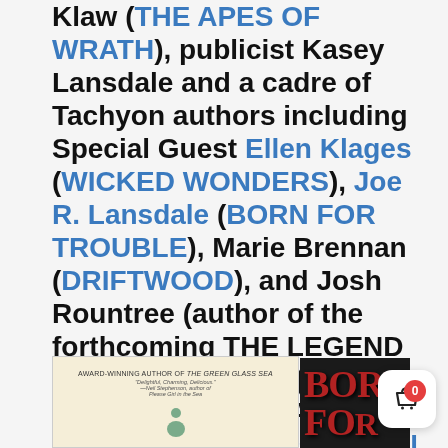Klaw (THE APES OF WRATH), publicist Kasey Lansdale and a cadre of Tachyon authors including Special Guest Ellen Klages (WICKED WONDERS), Joe R. Lansdale (BORN FOR TROUBLE), Marie Brennan (DRIFTWOOD), and Josh Rountree (author of the forthcoming THE LEGEND OF CHARLIE FISH) for ArmadilloCon 44, August 5-7 at Austin Southpark Hotel in Austin, TX
[Figure (photo): Book cover for Wicked Wonders by Ellen Klages showing award-winning author text and small illustration of a figure, cream/tan background]
[Figure (photo): Book cover for Born For Trouble showing red distressed title text on dark background]